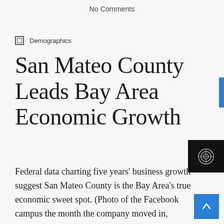No Comments
Demographics
San Mateo County Leads Bay Area Economic Growth
Federal data charting five years' business growth suggest San Mateo County is the Bay Area’s true economic sweet spot. (Photo of the Facebook campus the month the company moved in, courtesy Flickr and Jitze Couperus.) By Sharon Simonson For all the debate about the relative economic strength and stature of traditional Silicon Valley (Santa Clara County) versus the new Silicon Valley’s (including San Francisco)